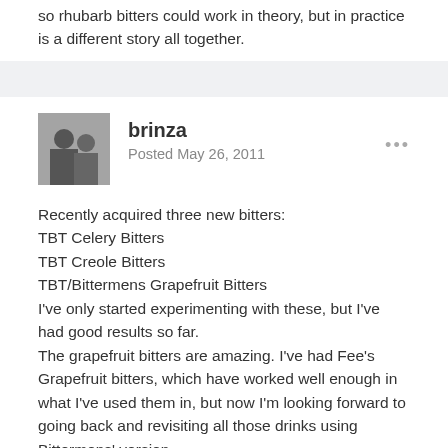so rhubarb bitters could work in theory, but in practice is a different story all together.
brinza
Posted May 26, 2011
Recently acquired three new bitters:
TBT Celery Bitters
TBT Creole Bitters
TBT/Bittermens Grapefruit Bitters
I've only started experimenting with these, but I've had good results so far.
The grapefruit bitters are amazing. I've had Fee's Grapefruit bitters, which have worked well enough in what I've used them in, but now I'm looking forward to going back and revisiting all those drinks using Bittermens' version.
The Creole Bitters are interesting. Distinctly different from Peychaud's yet there are of course similarities. It's exciting to have another bitters that's in the same realm as Peychaud's but with a different approach. I use to think of Peychaud's as being in